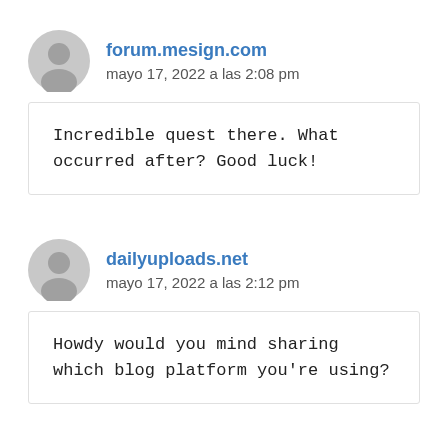forum.mesign.com
mayo 17, 2022 a las 2:08 pm
Incredible quest there. What occurred after? Good luck!
dailyuploads.net
mayo 17, 2022 a las 2:12 pm
Howdy would you mind sharing which blog platform you're using?